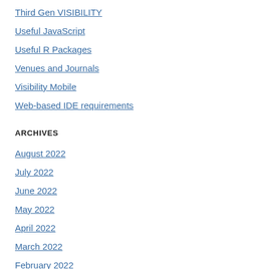Third Gen VISIBILITY
Useful JavaScript
Useful R Packages
Venues and Journals
Visibility Mobile
Web-based IDE requirements
ARCHIVES
August 2022
July 2022
June 2022
May 2022
April 2022
March 2022
February 2022
January 2022
December 2021